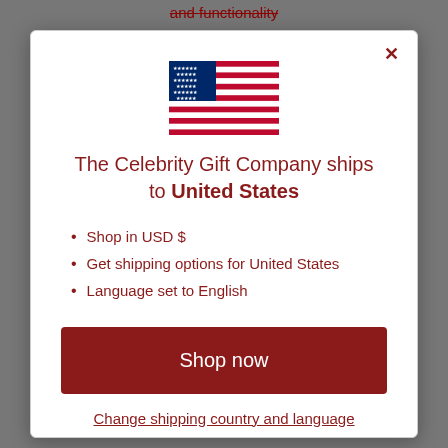and functionality
[Figure (illustration): US flag SVG illustration]
The Celebrity Gift Company ships to United States
Shop in USD $
Get shipping options for United States
Language set to English
Shop now
Change shipping country and language